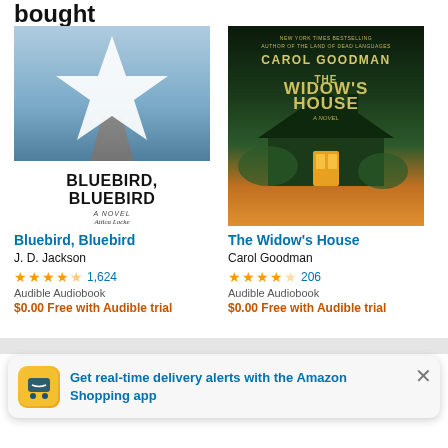bought
[Figure (photo): Book cover of Bluebird, Bluebird by Attica Locke - A Novel]
Bluebird, Bluebird
J. D. Jackson
4.5 stars, 1,624 reviews
Audible Audiobook
$0.00 Free with Audible trial
[Figure (photo): Book cover of The Widow's House by Carol Goodman - A Novel]
The Widow's House
Carol Goodman
4 stars, 206 reviews
Audible Audiobook
$0.00 Free with Audible trial
Get real-time delivery alerts with the Amazon Shopping app